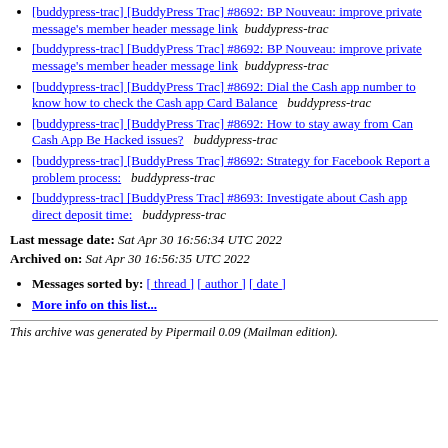[buddypress-trac] [BuddyPress Trac] #8692: BP Nouveau: improve private message's member header message link  buddypress-trac
[buddypress-trac] [BuddyPress Trac] #8692: BP Nouveau: improve private message's member header message link  buddypress-trac
[buddypress-trac] [BuddyPress Trac] #8692: Dial the Cash app number to know how to check the Cash app Card Balance   buddypress-trac
[buddypress-trac] [BuddyPress Trac] #8692: How to stay away from Can Cash App Be Hacked issues?   buddypress-trac
[buddypress-trac] [BuddyPress Trac] #8692: Strategy for Facebook Report a problem process:   buddypress-trac
[buddypress-trac] [BuddyPress Trac] #8693: Investigate about Cash app direct deposit time:   buddypress-trac
Last message date: Sat Apr 30 16:56:34 UTC 2022
Archived on: Sat Apr 30 16:56:35 UTC 2022
Messages sorted by: [ thread ] [ author ] [ date ]
More info on this list...
This archive was generated by Pipermail 0.09 (Mailman edition).